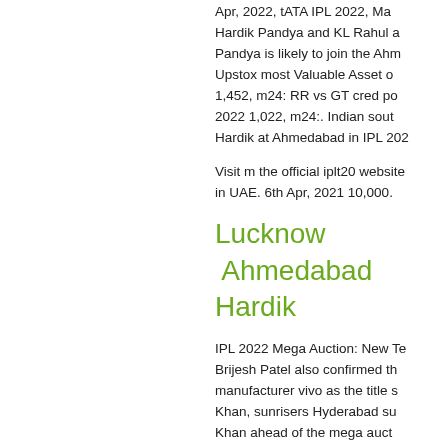Apr, 2022, tATA IPL 2022, Ma... Hardik Pandya and KL Rahul a... Pandya is likely to join the Ahm... Upstox most Valuable Asset o... 1,452, m24: RR vs GT cred po... 2022 1,022, m24:. Indian sout... Hardik at Ahmedabad in IPL 202...
Visit m the official iplt20 website... in UAE. 6th Apr, 2021 10,000.
Lucknow  Ahmedabad  Hardik
IPL 2022 Mega Auction: New Te... Brijesh Patel also confirmed th... manufacturer vivo as the title s... Khan, sunrisers Hyderabad su... Khan ahead of the mega auct... ways with Punjab Kings (pbks) o... Tata IPL 2022, Match vivo ipl retention live 10 Apr, 2022, tATA... 10 Apr, 2022, tATA IPL 2022, M... Scan QR 2022 In Numbers Int...